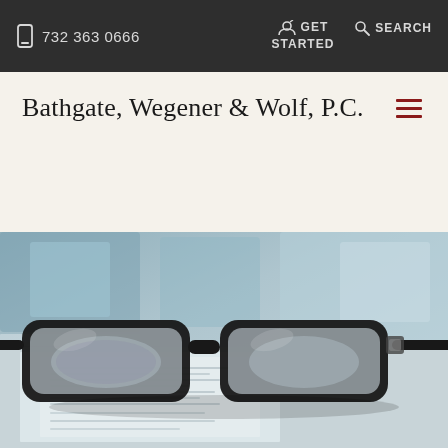732 363 0666  GET STARTED  SEARCH
Bathgate, Wegener & Wolf, P.C.
[Figure (photo): Close-up photo of black-framed reading glasses resting on a legal document, with a blurred office background]